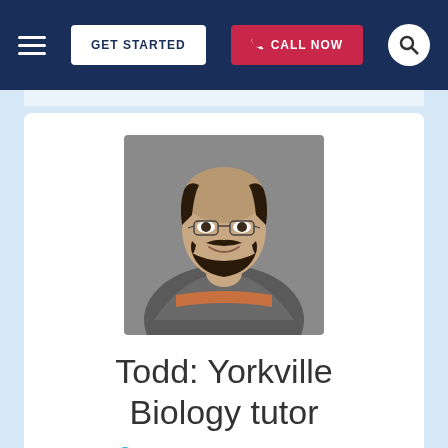GET STARTED  CALL NOW
[Figure (photo): Portrait photo of a bearded man with glasses wearing a grey zip-up fleece jacket with an orange stripe, smiling, against a grey background.]
Todd: Yorkville Biology tutor
Certified Biology Tutor in Yorkville